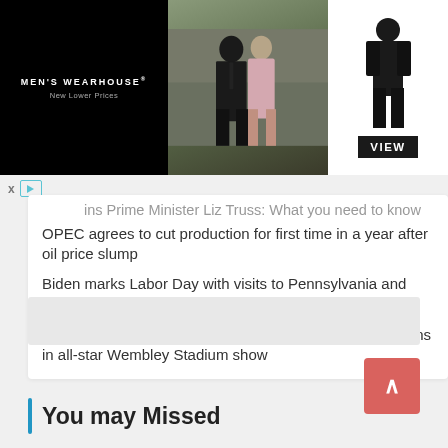[Figure (photo): Men's Wearhouse advertisement banner featuring a couple in formal wear and a man in a suit, with a VIEW button]
ins Prime Minister Liz Truss: What you need to know
OPEC agrees to cut production for first time in a year after oil price slump
Biden marks Labor Day with visits to Pennsylvania and Wisconsin as midterms heat up
Foo Fighters, rock legends honor drummer Taylor Hawkins in all-star Wembley Stadium show
You may Missed